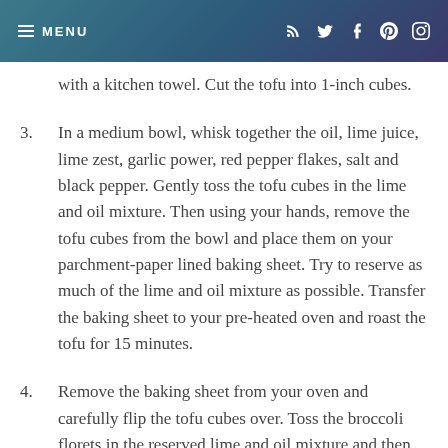≡ MENU  (social icons: RSS, Twitter, Facebook, Pinterest, Instagram)
with a kitchen towel. Cut the tofu into 1-inch cubes.
3. In a medium bowl, whisk together the oil, lime juice, lime zest, garlic power, red pepper flakes, salt and black pepper. Gently toss the tofu cubes in the lime and oil mixture. Then using your hands, remove the tofu cubes from the bowl and place them on your parchment-paper lined baking sheet. Try to reserve as much of the lime and oil mixture as possible. Transfer the baking sheet to your pre-heated oven and roast the tofu for 15 minutes.
4. Remove the baking sheet from your oven and carefully flip the tofu cubes over. Toss the broccoli florets in the reserved lime and oil mixture and then transfer them to the baking sheet. Put on the...